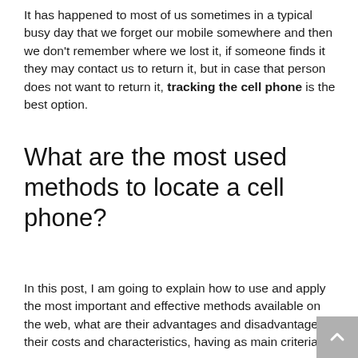It has happened to most of us sometimes in a typical busy day that we forget our mobile somewhere and then we don't remember where we lost it, if someone finds it they may contact us to return it, but in case that person does not want to return it, tracking the cell phone is the best option.
What are the most used methods to locate a cell phone?
In this post, I am going to explain how to use and apply the most important and effective methods available on the web, what are their advantages and disadvantages, their costs and characteristics, having as main criteria